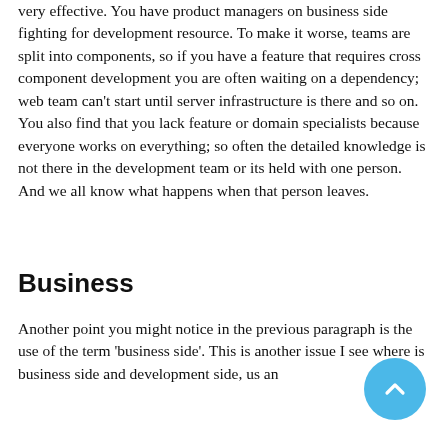very effective. You have product managers on business side fighting for development resource. To make it worse, teams are split into components, so if you have a feature that requires cross component development you are often waiting on a dependency; web team can't start until server infrastructure is there and so on. You also find that you lack feature or domain specialists because everyone works on everything; so often the detailed knowledge is not there in the development team or its held with one person. And we all know what happens when that person leaves.
Business
Another point you might notice in the previous paragraph is the use of the term 'business side'. This is another issue I see where is business side and development side, us an